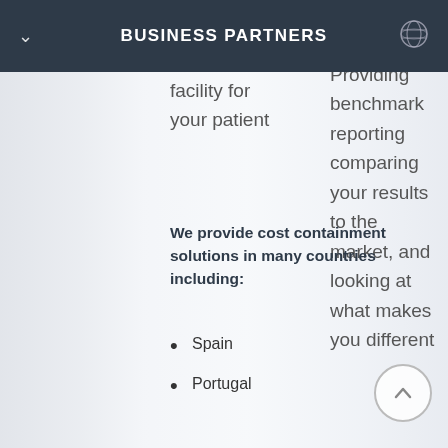BUSINESS PARTNERS
facility for your patient
Providing benchmark reporting comparing your results to the market, and looking at what makes you different
We provide cost containment solutions in many countries including:
Spain
Portugal